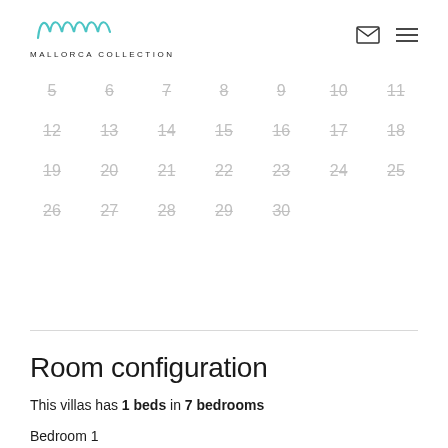MALLORCA COLLECTION
[Figure (other): Calendar grid showing dates 5-30 with strikethrough styling, indicating unavailable dates]
Room configuration
This villas has 1 beds in 7 bedrooms
Bedroom 1